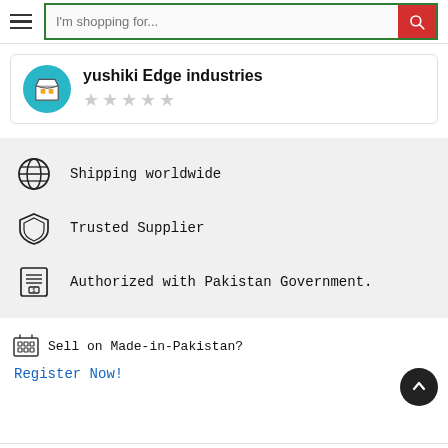[Figure (screenshot): Search bar with hamburger menu icon on the left and red search button on the right, with placeholder text 'I'm shopping for...']
yushiki Edge industries
[Figure (illustration): Star rating (5 empty/grey stars)]
Shipping worldwide
Trusted Supplier
Authorized with Pakistan Government.
Sell on Made-in-Pakistan?
Register Now!